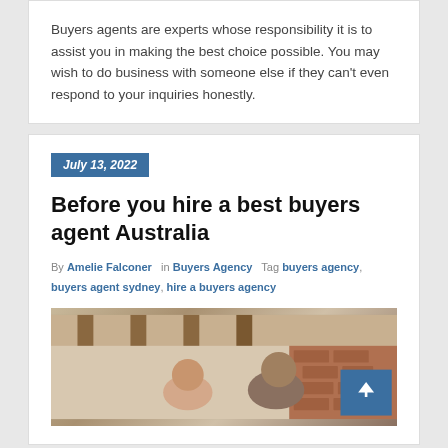Buyers agents are experts whose responsibility it is to assist you in making the best choice possible. You may wish to do business with someone else if they can't even respond to your inquiries honestly.
July 13, 2022
Before you hire a best buyers agent Australia
By Amelie Falconer in Buyers Agency Tag buyers agency, buyers agent sydney, hire a buyers agency
[Figure (photo): Photo of people smiling, likely in a home or office setting with wooden ceiling beams visible]